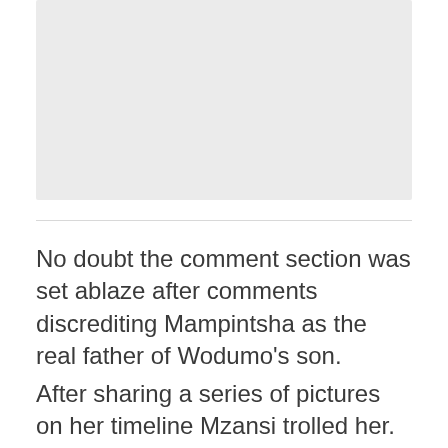[Figure (photo): Light gray placeholder image area at the top of the page]
No doubt the comment section was set ablaze after comments discrediting Mampintsha as the real father of Wodumo’s son.
After sharing a series of pictures on her timeline Mzansi trolled her. Comments such as, “Now here’s Spontshi’s real father,” and